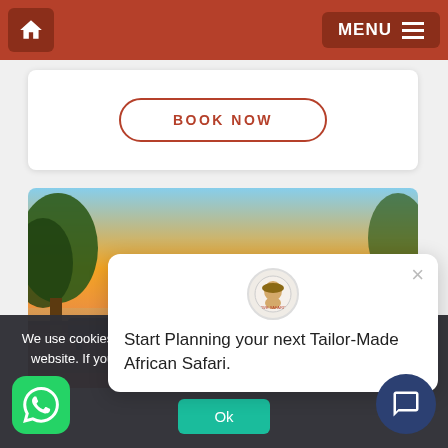Home | MENU
BOOK NOW
[Figure (photo): African safari sunset landscape with water and lounge chairs on a deck, trees silhouetted against orange sky]
Start Planning your next Tailor-Made African Safari.
We use cookies to ensure that we give you the best experience on our website. If you continue to use this site we will assume that you are happy with it.
Ok